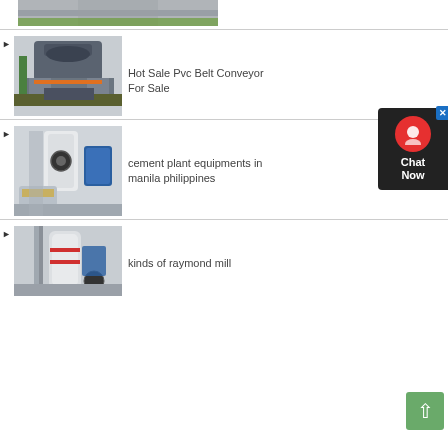[Figure (photo): Top partial view of a crusher machine in an industrial factory, gray machinery on green floor]
[Figure (photo): Industrial VSI crusher machine on a factory floor, gray and orange machine]
Hot Sale Pvc Belt Conveyor For Sale
[Figure (photo): Raymond mill machine with blue fan motor in a large industrial workshop]
cement plant equipments in manila philippines
[Figure (photo): Industrial raymond mill with red stripe and motor in factory setting]
kinds of raymond mill